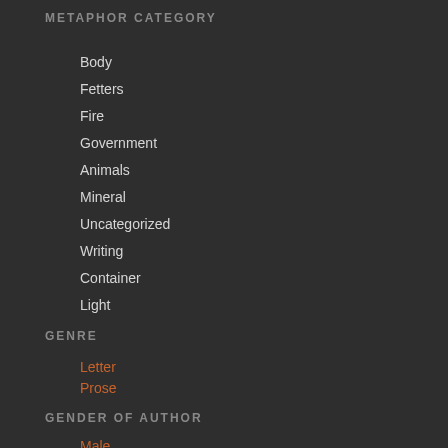METAPHOR CATEGORY
Body
Fetters
Fire
Government
Animals
Mineral
Uncategorized
Writing
Container
Light
GENRE
Letter
Prose
GENDER OF AUTHOR
Male
NATIONALITY OF AUTHOR